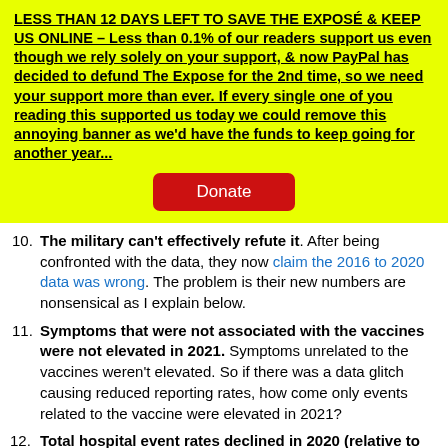LESS THAN 12 DAYS LEFT TO SAVE THE EXPOSÉ & KEEP US ONLINE – Less than 0.1% of our readers support us even though we rely solely on your support, & now PayPal has decided to defund The Expose for the 2nd time, so we need your support more than ever. If every single one of you reading this supported us today we could remove this annoying banner as we'd have the funds to keep going for another year...
Donate
10. The military can't effectively refute it. After being confronted with the data, they now claim the 2016 to 2020 data was wrong. The problem is their new numbers are nonsensical as I explain below.
11. Symptoms that were not associated with the vaccines were not elevated in 2021. Symptoms unrelated to the vaccines weren't elevated. So if there was a data glitch causing reduced reporting rates, how come only events related to the vaccine were elevated in 2021?
12. Total hospital event rates declined in 2020 (relative to 2019) in both the original and corrected results. What's unique about the DMED database is that military hospitals don't get COVID incentives. Total hospital event rates declined